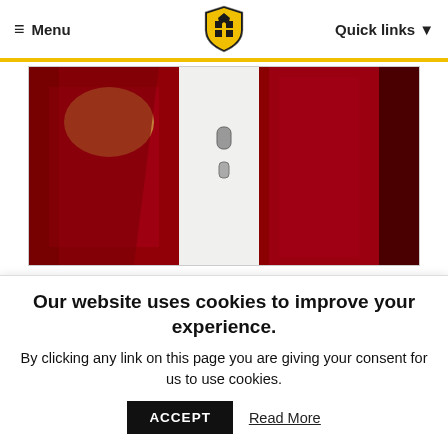≡ Menu  [SGS Logo]  Quick links ▼
[Figure (photo): A painting showing red and dark red abstract shapes resembling a coat or robe with a white section in the middle, created by SGS Fifth Year Art students.]
During the evening, the children also enjoyed taking part in art activities led by SGS Fifth Year Art students.
Our website uses cookies to improve your experience.
By clicking any link on this page you are giving your consent for us to use cookies.  ACCEPT  Read More